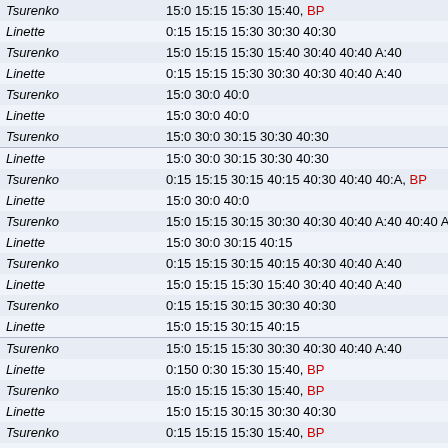| Player | Score sequence |
| --- | --- |
| Tsurenko | 15:0 15:15 15:30 15:40, BP |
| Linette | 0:15 15:15 15:30 30:30 40:30 |
| Tsurenko | 15:0 15:15 15:30 15:40 30:40 40:40 A:40 |
| Linette | 0:15 15:15 15:30 30:30 40:30 40:40 A:40 |
| Tsurenko | 15:0 30:0 40:0 |
| Linette | 15:0 30:0 40:0 |
| Tsurenko | 15:0 30:0 30:15 30:30 40:30 |
| Linette | 15:0 30:0 30:15 30:30 40:30 |
| Tsurenko | 0:15 15:15 30:15 40:15 40:30 40:40 40:A, BP |
| Linette | 15:0 30:0 40:0 |
| Tsurenko | 15:0 15:15 30:15 30:30 40:30 40:40 A:40 40:40 A |
| Linette | 15:0 30:0 30:15 40:15 |
| Tsurenko | 0:15 15:15 30:15 40:15 40:30 40:40 A:40 |
| Linette | 15:0 15:15 15:30 15:40 30:40 40:40 A:40 |
| Tsurenko | 0:15 15:15 30:15 30:30 40:30 |
| Linette | 15:0 15:15 30:15 40:15 |
| Tsurenko | 15:0 15:15 15:30 30:30 40:30 40:40 A:40 |
| Linette | 0:150 0:30 15:30 15:40, BP |
| Tsurenko | 15:0 15:15 15:30 15:40, BP |
| Linette | 15:0 15:15 30:15 30:30 40:30 |
| Tsurenko | 0:15 15:15 15:30 15:40, BP |
| Linette | 30:0 40:0 40:15 40:30 |
| Tsurenko | 0:15 15:15 30:15 30:30 40:30 |
| Linette | 15:0 15:15 30:15 30:30 30:40, BP |
| Tsurenko | 15:0 30:0 30:15 40:15 |